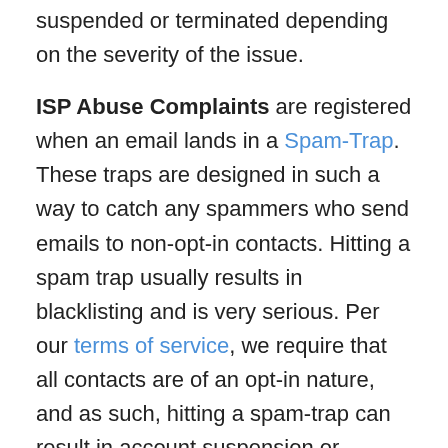suspended or terminated depending on the severity of the issue.
ISP Abuse Complaints are registered when an email lands in a Spam-Trap. These traps are designed in such a way to catch any spammers who send emails to non-opt-in contacts. Hitting a spam trap usually results in blacklisting and is very serious. Per our terms of service, we require that all contacts are of an opt-in nature, and as such, hitting a spam-trap can result in account suspension or termination
Luckily, these traps are easily avoided by